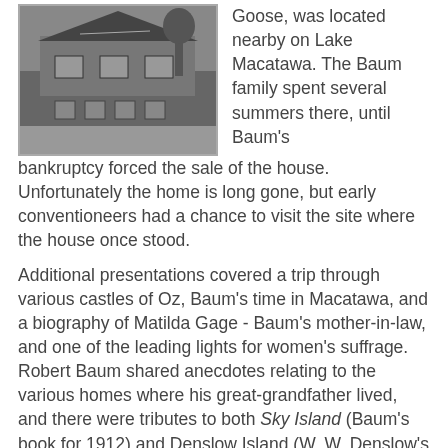[Figure (photo): Black and white photograph of a house, appears to be a cottage or vacation home with a porch and surrounding trees/sand dunes.]
Goose, was located nearby on Lake Macatawa. The Baum family spent several summers there, until Baum's bankruptcy forced the sale of the house. Unfortunately the home is long gone, but early conventioneers had a chance to visit the site where the house once stood.
Additional presentations covered a trip through various castles of Oz, Baum's time in Macatawa, and a biography of Matilda Gage - Baum's mother-in-law, and one of the leading lights for women's suffrage. Robert Baum shared anecdotes relating to the various homes where his great-grandfather lived, and there were tributes to both Sky Island (Baum's book for 1912) and Denslow Island (W. W. Denslow's Bermuda retreat).
[Figure (photo): Photograph of what appears to be a golden/amber colored ring or circular object on a tan/beige background.]